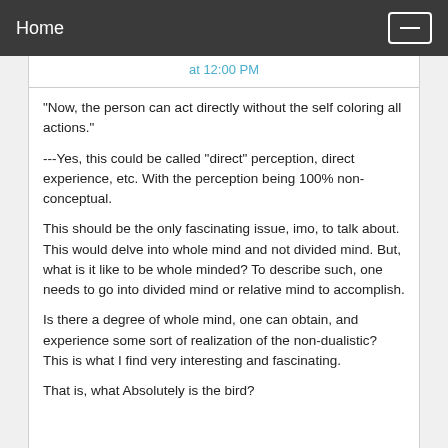Home
at 12:00 PM
"Now, the person can act directly without the self coloring all actions."
---Yes, this could be called "direct" perception, direct experience, etc. With the perception being 100% non-conceptual.
This should be the only fascinating issue, imo, to talk about. This would delve into whole mind and not divided mind. But, what is it like to be whole minded? To describe such, one needs to go into divided mind or relative mind to accomplish.
Is there a degree of whole mind, one can obtain, and experience some sort of realization of the non-dualistic? This is what I find very interesting and fascinating.
That is, what Absolutely is the bird?